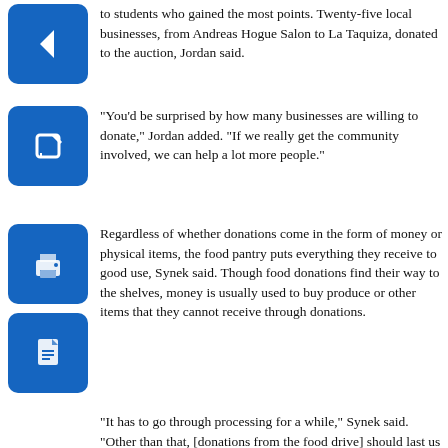[Figure (illustration): Blue square button with left arrow icon]
to students who gained the most points. Twenty-five local businesses, from Andreas Hogue Salon to La Taquiza, donated to the auction, Jordan said.
[Figure (illustration): Blue square button with edit/pencil icon]
“You’d be surprised by how many businesses are willing to donate,” Jordan added. “If we really get the community involved, we can help a lot more people.”
[Figure (illustration): Blue square button with printer icon]
Regardless of whether donations come in the form of money or physical items, the food pantry puts everything they receive to good use, Synek said. Though food donations find their way to the shelves, money is usually used to buy produce or other items that they cannot receive through donations.
[Figure (illustration): Blue square button with PDF document icon]
“It has to go through processing for a while,” Synek said. “Other than that, [donations from the food drive] should last us through the new year.”
Jill Brickman, supervisor of the Northfield Township Food Pantry, has seen years worth of South’s donations impact the community. The pantry depends on food drives, Brickman said, since they do not receive any money from taxpayers.
“[The food pantry] is a huge safety net for people,” Brickman said. “Our clients are a cross section of people from all over the community. We rely on donations like this one to bring variety to our shelves.”